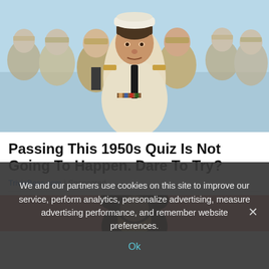[Figure (photo): Group of men in military naval uniforms (white and beige), standing outdoors against a blue sky. A central figure in a white naval officer uniform with dark tie is prominently featured.]
Passing This 1950s Quiz Is Not Going To Happen. Dare To Try?
TriviaBoss.com | Sponsored
[Figure (illustration): Partial view of a cartoon/illustrated character on a coral/salmon colored background, visible at the bottom of the page behind the cookie banner.]
We and our partners use cookies on this site to improve our service, perform analytics, personalize advertising, measure advertising performance, and remember website preferences.
Ok